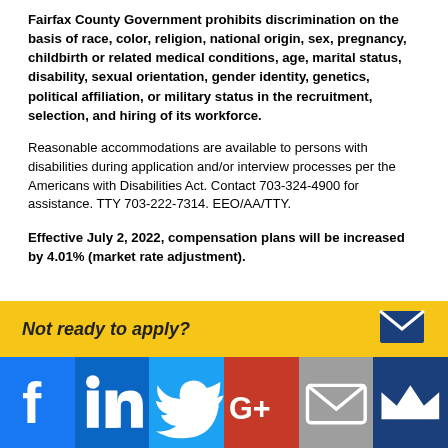Fairfax County Government prohibits discrimination on the basis of race, color, religion, national origin, sex, pregnancy, childbirth or related medical conditions, age, marital status, disability, sexual orientation, gender identity, genetics, political affiliation, or military status in the recruitment, selection, and hiring of its workforce.
Reasonable accommodations are available to persons with disabilities during application and/or interview processes per the Americans with Disabilities Act. Contact 703-324-4900 for assistance. TTY 703-222-7314. EEO/AA/TTY.
Effective July 2, 2022, compensation plans will be increased by 4.01% (market rate adjustment).
[Figure (infographic): Yellow banner with text 'Not ready to apply?' and social media sharing bar below with Facebook, LinkedIn, Twitter, Google+, email, and crown/mailing icons]